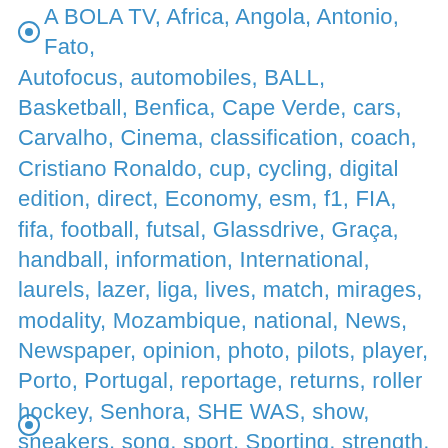A BOLA TV, Africa, Angola, Antonio, Fato, Autofocus, automobiles, BALL, Basketball, Benfica, Cape Verde, cars, Carvalho, Cinema, classification, coach, Cristiano Ronaldo, cup, cycling, digital edition, direct, Economy, esm, f1, FIA, fifa, football, futsal, Glassdrive, Graça, handball, information, International, laurels, lazer, liga, lives, match, mirages, modality, Mozambique, national, News, Newspaper, opinion, photo, pilots, player, Porto, Portugal, reportage, returns, roller hockey, Senhora, SHE WAS, show, sneakers, song, sport, Sporting, strength, teams, tolototarias, TV, uefa, video, volleyball, Wins, working day, world, wrc